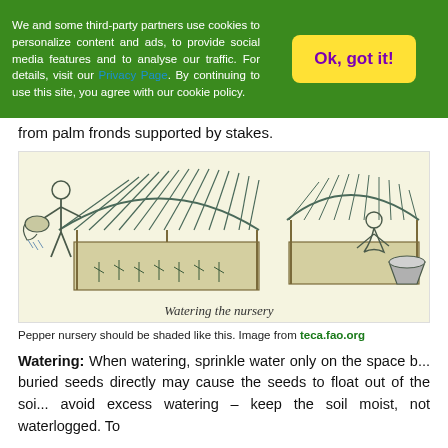We and some third-party partners use cookies to personalize content and ads, to provide social media features and to analyse our traffic. For details, visit our Privacy Page. By continuing to use this site, you agree with our cookie policy.
from palm fronds supported by stakes.
[Figure (illustration): Line drawing illustration showing two scenes of nursery management. Left: A man watering a raised seedling bed covered by a thatched shade structure, using a watering can. Right: A person kneeling beside a bucket near a shaded nursery bed. Caption inside image reads 'Watering the nursery'.]
Pepper nursery should be shaded like this. Image from teca.fao.org
Watering: When watering, sprinkle water only on the space b... buried seeds directly may cause the seeds to float out of the soi... avoid excess watering – keep the soil moist, not waterlogged. To